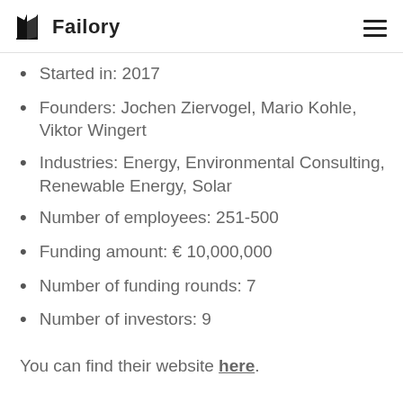Failory
Started in: 2017
Founders: Jochen Ziervogel, Mario Kohle, Viktor Wingert
Industries: Energy, Environmental Consulting, Renewable Energy, Solar
Number of employees: 251-500
Funding amount: € 10,000,000
Number of funding rounds: 7
Number of investors: 9
You can find their website here.